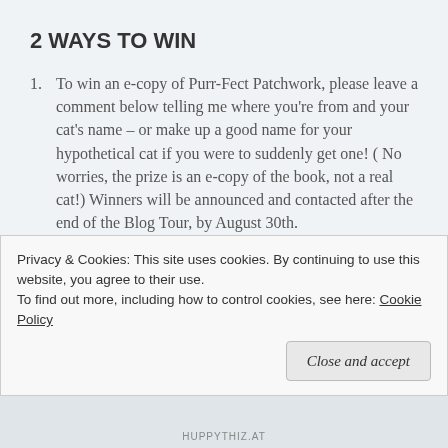2 WAYS TO WIN
To win an e-copy of Purr-Fect Patchwork, please leave a comment below telling me where you're from and your cat's name – or make up a good name for your hypothetical cat if you were to suddenly get one! ( No worries, the prize is an e-copy of the book, not a real cat!) Winners will be announced and contacted after the end of the Blog Tour, by August 30th.
For a chance to win a grand prize bundle from Pamela Morgan you must visit each of the blog
Privacy & Cookies: This site uses cookies. By continuing to use this website, you agree to their use.
To find out more, including how to control cookies, see here: Cookie Policy
Close and accept